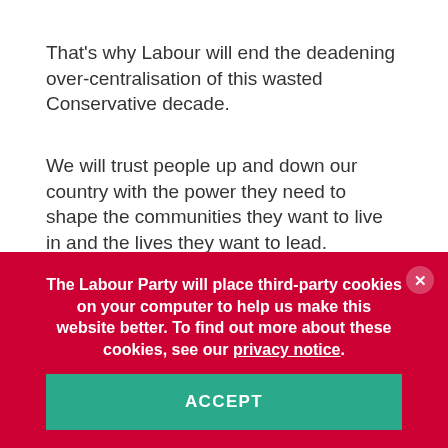That's why Labour will end the deadening over-centralisation of this wasted Conservative decade.
We will trust people up and down our country with the power they need to shape the communities they want to live in and the lives they want to lead.
The Labour Party will place third-party cookies on your computer to help us make this website better. To find out more about these cookies, see our privacy notice.
ACCEPT